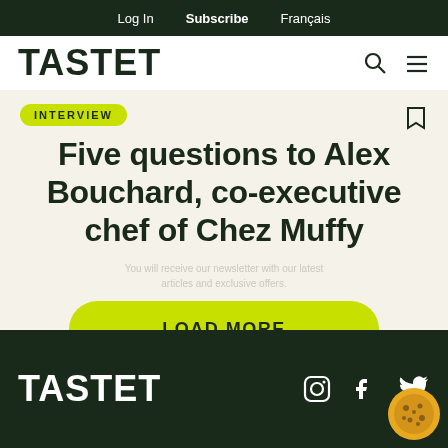Log In  Subscribe  Français
TASTET
INTERVIEW
Five questions to Alex Bouchard, co-executive chef of Chez Muffy
LOAD MORE
TASTET